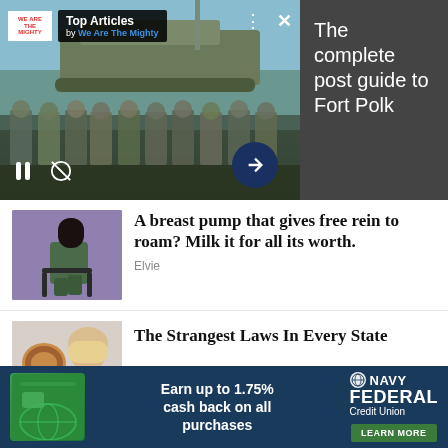[Figure (screenshot): Top Articles widget by We Are The Mighty showing military soldiers standing in front of a tank/vehicle. Video controls visible. Arrow navigation button on right.]
The complete post guide to Fort Polk
[Figure (photo): Woman in green outfit sitting on chair, advertisement for Elvie breast pump]
A breast pump that gives free rein to roam? Milk it for all its worth.
Elvie
[Figure (photo): Woman holding pretzel, article about strangest laws]
The Strangest Laws In Every State
[Figure (infographic): Navy Federal Credit Union advertisement: Earn up to 1.75% cash back on all purchases. Learn More button.]